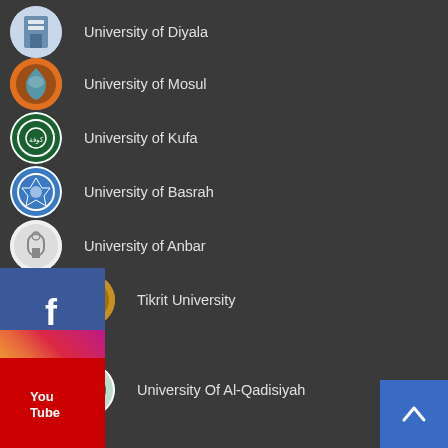University of Diyala
University of Mosul
University of Kufa
University of Basrah
University of Anbar
Tikrit University
University Of Al-Qadisiyah
Al-Nahrain University
University of Kirkuk
Mustansiriyah University